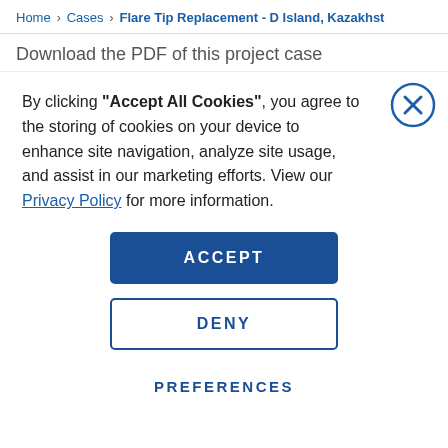Home > Cases > Flare Tip Replacement - D Island, Kazakhst
Download the PDF of this project case
By clicking “Accept All Cookies”, you agree to the storing of cookies on your device to enhance site navigation, analyze site usage, and assist in our marketing efforts. View our Privacy Policy for more information.
ACCEPT
DENY
PREFERENCES